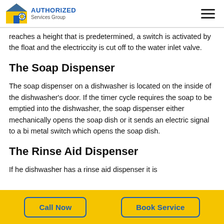AUTHORIZED Services Group
reaches a height that is predetermined, a switch is activated by the float and the electriccity is cut off to the water inlet valve.
The Soap Dispenser
The soap dispenser on a dishwasher is located on the inside of the dishwasher's door. If the timer cycle requires the soap to be emptied into the dishwasher, the soap dispenser either mechanically opens the soap dish or it sends an electric signal to a bi metal switch which opens the soap dish.
The Rinse Aid Dispenser
If he dishwasher has a rinse aid dispenser it is
Call Now | Book Service